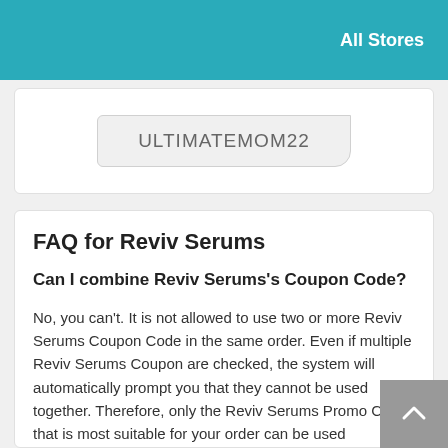All Stores
ULTIMATEMOM22
FAQ for Reviv Serums
Can I combine Reviv Serums's Coupon Code?
No, you can't. It is not allowed to use two or more Reviv Serums Coupon Code in the same order. Even if multiple Reviv Serums Coupon are checked, the system will automatically prompt you that they cannot be used together. Therefore, only the Reviv Serums Promo Code that is most suitable for your order can be used